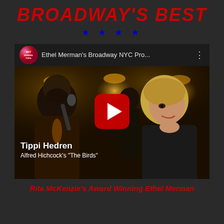BROADWAY'S BEST
★ ★ ★ ★
[Figure (screenshot): YouTube video thumbnail showing Tippi Hedren being interviewed. Video title reads 'Ethel Merman's Broadway NYC Pro...' with a YouTube channel logo. Lower left text overlay reads 'Tippi Hedren' and 'Alfred Hitchcock's "The Birds"'. A large red YouTube play button is centered on the image. Bar interior with warm lamp lighting in background.]
Rita McKenzie's Award Winning Ethel Merman